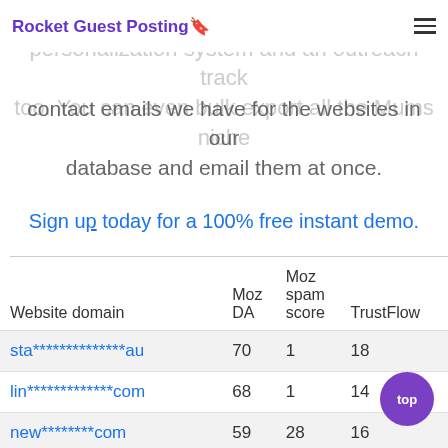Rocket Guest Posting
website. We have a guest post pitch personaliza... system and an outreach trac... too. You can even bulk export all the Mums niche contact emails we have for the websites in our database and email them at once.
Sign up today for a 100% free instant demo.
| Website domain | Moz DA | Moz spam score | TrustFlow |
| --- | --- | --- | --- |
| sta**************au | 70 | 1 | 18 |
| lin*************com | 68 | 1 | 14 |
| new********com | 59 | 28 | 16 |
| mum**************com | 58 | 1 | 17 |
| .*************s | 5? | 1 | 1? |